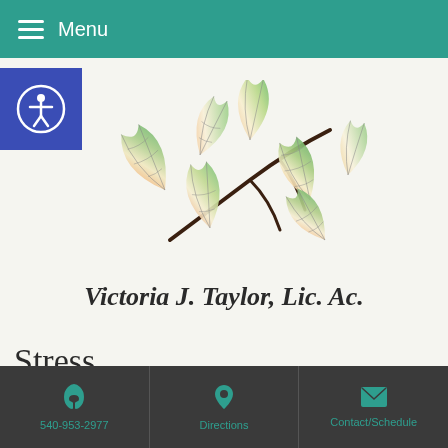Menu
[Figure (illustration): Colorful ginkgo leaf branch illustration used as logo for Victoria J. Taylor acupuncture practice]
Victoria J. Taylor, Lic. Ac.
Stress
540-953-2977  Directions  Contact/Schedule